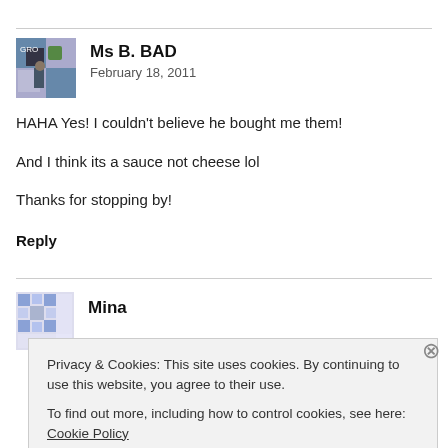Ms B. BAD
February 18, 2011
HAHA Yes! I couldn't believe he bought me them!
And I think its a sauce not cheese lol
Thanks for stopping by!
Reply
Mina
Privacy & Cookies: This site uses cookies. By continuing to use this website, you agree to their use.
To find out more, including how to control cookies, see here: Cookie Policy
Close and accept